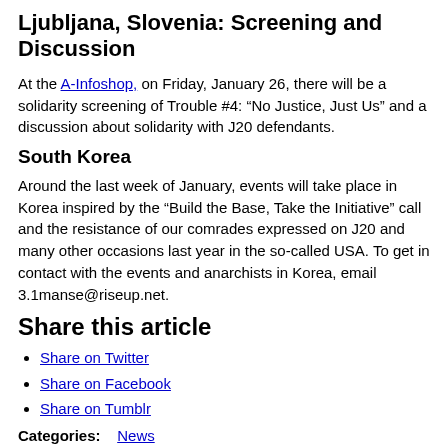Ljubljana, Slovenia: Screening and Discussion
At the A-Infoshop, on Friday, January 26, there will be a solidarity screening of Trouble #4: “No Justice, Just Us” and a discussion about solidarity with J20 defendants.
South Korea
Around the last week of January, events will take place in Korea inspired by the “Build the Base, Take the Initiative” call and the resistance of our comrades expressed on J20 and many other occasions last year in the so-called USA. To get in contact with the events and anarchists in Korea, email 3.1manse@riseup.net.
Share this article
Share on Twitter
Share on Facebook
Share on Tumblr
Categories: News